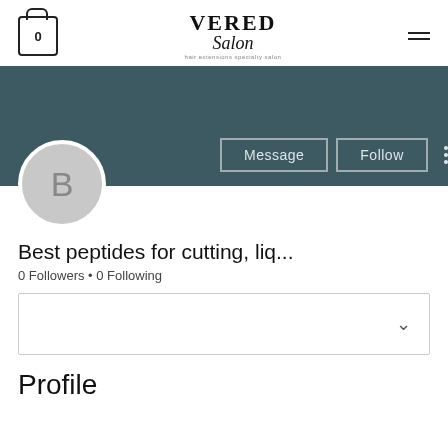VERED Salon — hair extensions specialty salon
[Figure (screenshot): Social profile page section with dark teal banner, avatar circle with letter B, Message and Follow buttons, profile name 'Best peptides for cutting, liq...', 0 Followers, 0 Following, a dropdown box, and a Profile section header]
Best peptides for cutting, liq...
0 Followers • 0 Following
Profile